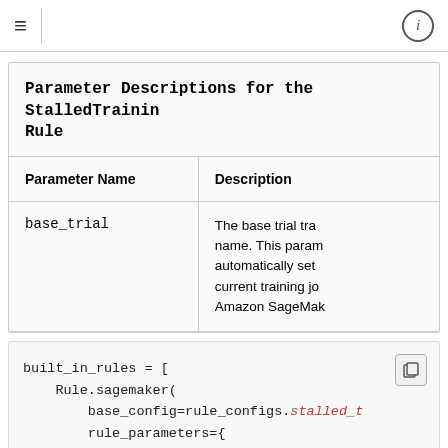≡  ⓘ
| Parameter Name | Description |
| --- | --- |
| base_trial | The base trial training job name. This parameter is automatically set to the current training job by Amazon SageMaker |
built_in_rules = [
    Rule.sagemaker(
        base_config=rule_configs.stalled_t
        rule_parameters={